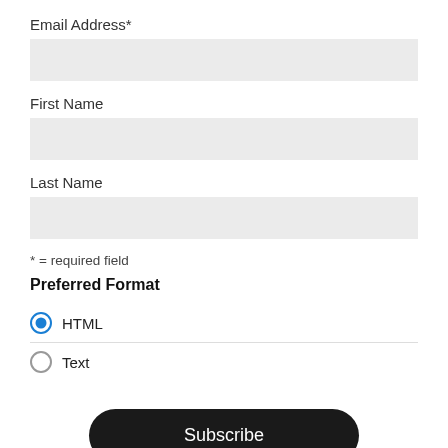Email Address*
[Figure (other): Empty text input field for Email Address]
First Name
[Figure (other): Empty text input field for First Name]
Last Name
[Figure (other): Empty text input field for Last Name]
* = required field
Preferred Format
HTML (selected radio button)
Text (unselected radio button)
Subscribe